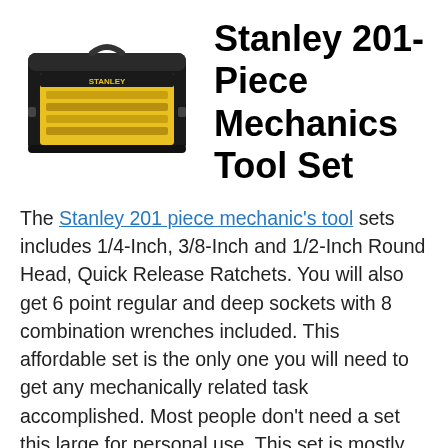[Figure (photo): Stanley 201-piece mechanics tool set in a black carrying case with yellow insert, shown closed at an angle.]
Stanley 201-Piece Mechanics Tool Set
The Stanley 201 piece mechanic's tool sets includes 1/4-Inch, 3/8-Inch and 1/2-Inch Round Head, Quick Release Ratchets. You will also get 6 point regular and deep sockets with 8 combination wrenches included. This affordable set is the only one you will need to get any mechanically related task accomplished. Most people don't need a set this large for personal use. This set is mostly used in mechanics shops by mechanics who require a